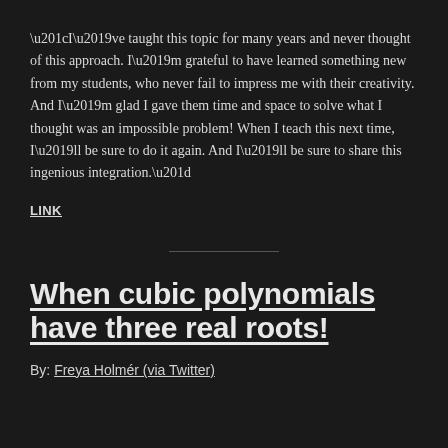“I’ve taught this topic for many years and never thought of this approach. I’m grateful to have learned something new from my students, who never fail to impress me with their creativity. And I’m glad I gave them time and space to solve what I thought was an impossible problem! When I teach this next time, I’ll be sure to do it again. And I’ll be sure to share this ingenious integration.”
LINK
When cubic polynomials have three real roots!
By: Freya Holmér (via Twitter)